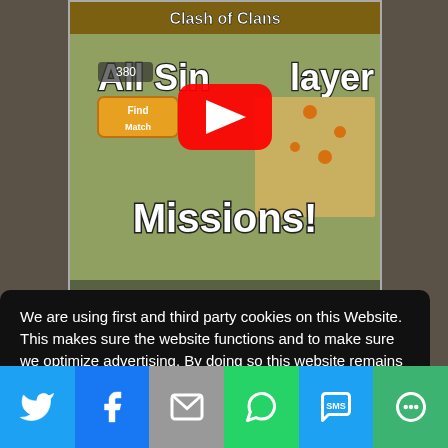[Figure (screenshot): YouTube thumbnail for a Clash of Clans video showing 'All Single Player Missions!' text with a YouTube play button overlay, game map, and UI elements.]
We are using first and third party cookies on this Website. This makes sure the website functions and to make sure we optimize advertising. By doing so this website remains free of charge. If you click on 'I Agree' or by continuing to use the website, you are agreeing to our use of cookies.
Learn more
I Agree
[Figure (infographic): Social sharing bar with six buttons: Twitter (blue bird icon), Facebook (blue f icon), Email (grey envelope icon), WhatsApp (green speech bubble icon), SMS (blue speech bubble icon), More/ShareThis (green circles icon).]